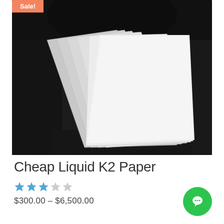[Figure (photo): Product photo showing stacked white paper sheets fanned out on a dark background, with an orange sale badge in the top-left corner of the image.]
Cheap Liquid K2 Paper
[Figure (other): 3-star rating shown with blue filled stars and grey empty stars (3 filled, 2 empty)]
$300.00 – $6,500.00
[Figure (other): Green circular chat/messenger button with white chat bubble icon]